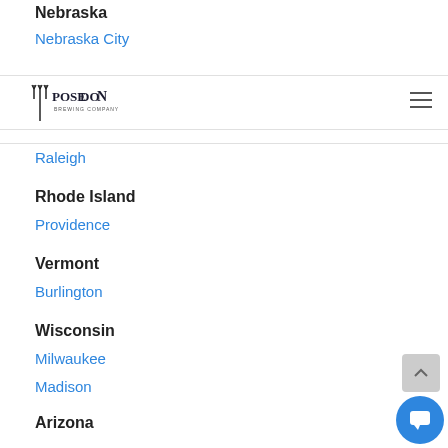Nebraska
Nebraska City
[Figure (logo): Poseidon Brewing Company logo with trident icon]
Raleigh
Rhode Island
Providence
Vermont
Burlington
Wisconsin
Milwaukee
Madison
Arizona